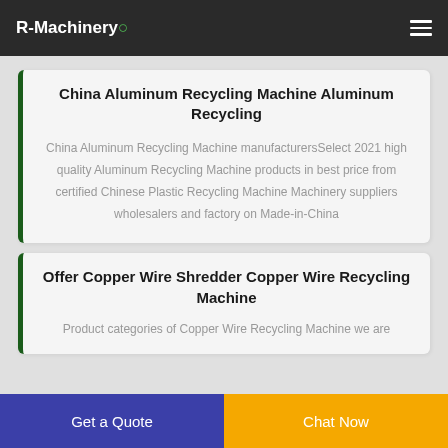R-Machinery
China Aluminum Recycling Machine Aluminum Recycling
China Aluminum Recycling Machine manufacturersSelect 2021 high quality Aluminum Recycling Machine products in best price from certified Chinese Plastic Recycling Machine Machinery suppliers wholesalers and factory on Made-in-China
Offer Copper Wire Shredder Copper Wire Recycling Machine
Product categories of Copper Wire Recycling Machine we are